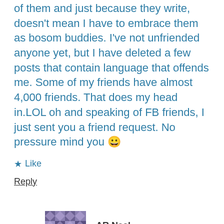of them and just because they write, doesn't mean I have to embrace them as bosom buddies. I've not unfriended anyone yet, but I have deleted a few posts that contain language that offends me. Some of my friends have almost 4,000 friends. That does my head in.LOL oh and speaking of FB friends, I just sent you a friend request. No pressure mind you 😀
★ Like
Reply
AR Neal
November 21, 2016 at 4:07 pm